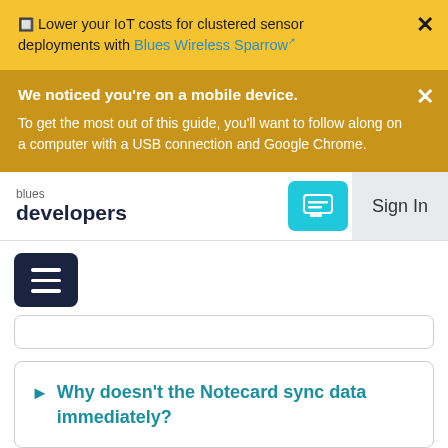🔲 Lower your IoT costs for clustered sensor deployments with Blues Wireless Sparrow↗
We noticed you're on a mobile device. To get the most out of this guide, you'll want to follow along on a computer with a USB connection and Google Chrome.
blues developers | Sign In
Why doesn't the Notecard sync data immediately?